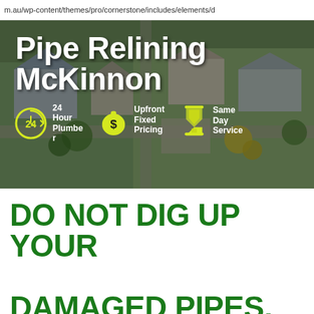m.au/wp-content/themes/pro/cornerstone/includes/elements/d
[Figure (photo): Aerial/drone view of residential suburban houses with rooftops, gardens, and driveways visible from above. Overlaid with white bold text 'Pipe Relining McKinnon' and three yellow icons: a 24-hour clock icon with text '24 Hour Plumber', a money bag icon with text 'Upfront Fixed Pricing', and an hourglass icon with text 'Same Day Service'.]
DO NOT DIG UP YOUR DAMAGED PIPES, RELINE THEM